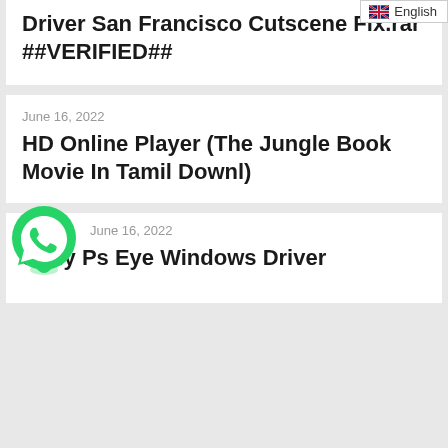English
Driver San Francisco Cutscene Fix.rar ##VERIFIED##
June 16, 2022
HD Online Player (The Jungle Book Movie In Tamil Downl)
June 16, 2022
Sony Ps Eye Windows Driver